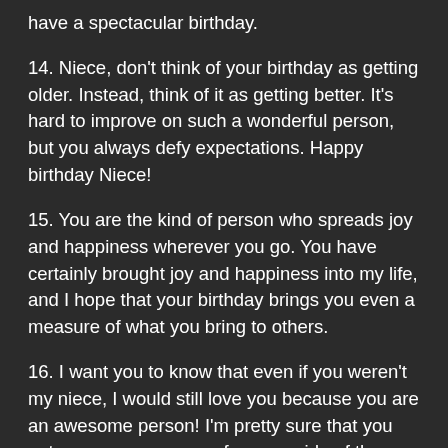have a spectacular birthday.
14. Niece, don't think of your birthday as getting older. Instead, think of it as getting better. It's hard to improve on such a wonderful person, but you always defy expectations. Happy birthday Niece!
15. You are the kind of person who spreads joy and happiness wherever you go. You have certainly brought joy and happiness into my life, and I hope that your birthday brings you even a measure of what you bring to others.
16. I want you to know that even if you weren't my niece, I would still love you because you are an awesome person! I'm pretty sure that you got your awesomeness from my side of the family!
17. When I was younger, I thought that being an aunt